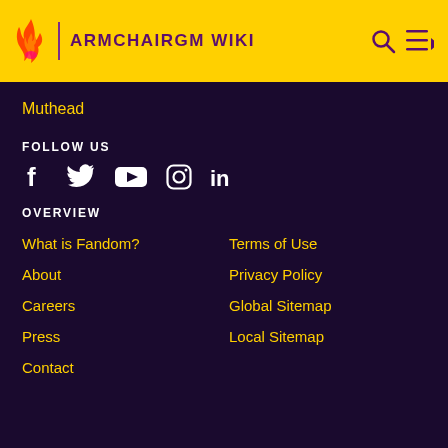ARMCHAIRGM WIKI
Muthead
FOLLOW US
[Figure (other): Social media icons: Facebook, Twitter, YouTube, Instagram, LinkedIn]
OVERVIEW
What is Fandom?
Terms of Use
About
Privacy Policy
Careers
Global Sitemap
Press
Local Sitemap
Contact